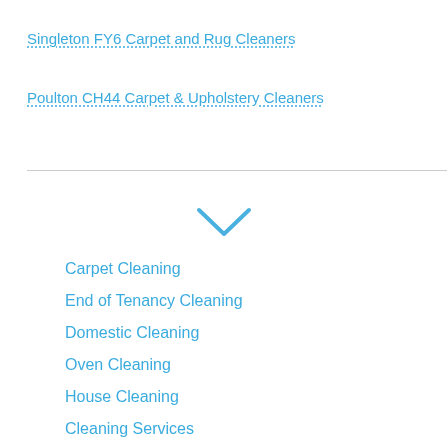Singleton FY6 Carpet and Rug Cleaners
Poulton CH44 Carpet & Upholstery Cleaners
[Figure (other): Chevron/dropdown arrow icon pointing downward]
Carpet Cleaning
End of Tenancy Cleaning
Domestic Cleaning
Oven Cleaning
House Cleaning
Cleaning Services
Office Cleaning
Window Cleaning